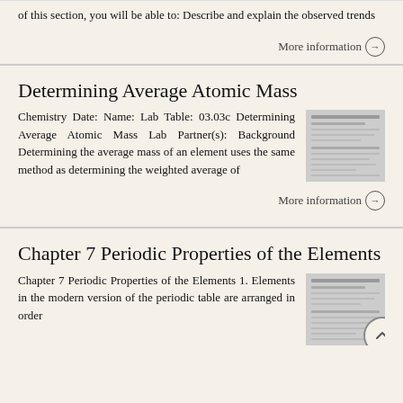of this section, you will be able to: Describe and explain the observed trends
More information →
Determining Average Atomic Mass
Chemistry Date: Name: Lab Table: 03.03c Determining Average Atomic Mass Lab Partner(s): Background Determining the average mass of an element uses the same method as determining the weighted average of
[Figure (screenshot): Thumbnail image of a lab document page]
More information →
Chapter 7 Periodic Properties of the Elements
Chapter 7 Periodic Properties of the Elements 1. Elements in the modern version of the periodic table are arranged in order
[Figure (screenshot): Thumbnail image of a document page]